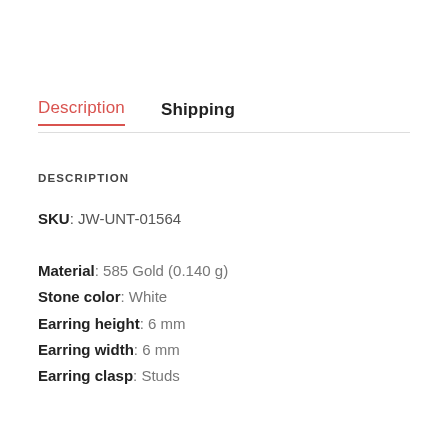Description	Shipping
DESCRIPTION
SKU: JW-UNT-01564
Material: 585 Gold (0.140 g)
Stone color: White
Earring height: 6 mm
Earring width: 6 mm
Earring clasp: Studs